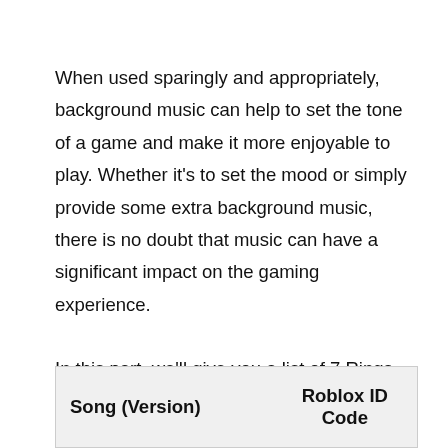When used sparingly and appropriately, background music can help to set the tone of a game and make it more enjoyable to play. Whether it's to set the mood or simply provide some extra background music, there is no doubt that music can have a significant impact on the gaming experience.

In this part, we'll give you a list of 7 Rings song Roblox ID codes that you may utilize in your games.
| Song (Version) | Roblox ID Code |
| --- | --- |